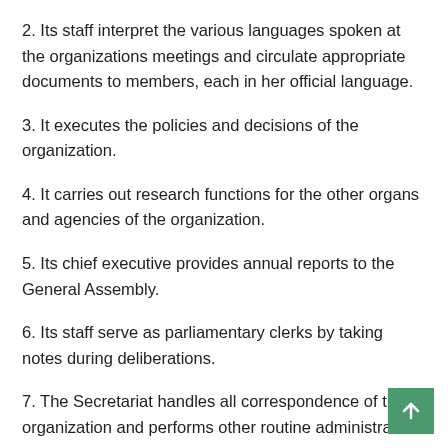2. Its staff interpret the various languages spoken at the organizations meetings and circulate appropriate documents to members, each in her official language.
3. It executes the policies and decisions of the organization.
4. It carries out research functions for the other organs and agencies of the organization.
5. Its chief executive provides annual reports to the General Assembly.
6. Its staff serve as parliamentary clerks by taking notes during deliberations.
7. The Secretariat handles all correspondence of the organization and performs other routine administrative